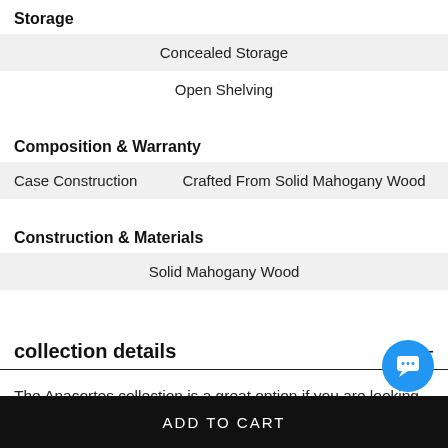Storage
Concealed Storage
Open Shelving
Composition & Warranty
| Case Construction | Crafted From Solid Mahogany Wood |
Construction & Materials
Solid Mahogany Wood
collection details
The Anacortes collection is a great option if you are looking for Rustic Industrial Rustic Industrial furniture in the Joliet, La Salle, Kankakee, Plainfield, Bourbonnais, Ottawa, Bradley, Shorewood area.
ADD TO CART